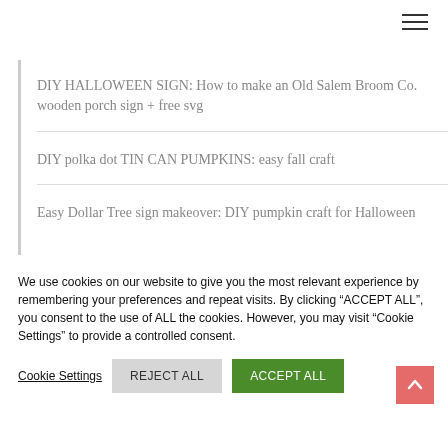DIY HALLOWEEN SIGN: How to make an Old Salem Broom Co. wooden porch sign + free svg
DIY polka dot TIN CAN PUMPKINS: easy fall craft
Easy Dollar Tree sign makeover: DIY pumpkin craft for Halloween
We use cookies on our website to give you the most relevant experience by remembering your preferences and repeat visits. By clicking “ACCEPT ALL”, you consent to the use of ALL the cookies. However, you may visit "Cookie Settings" to provide a controlled consent.